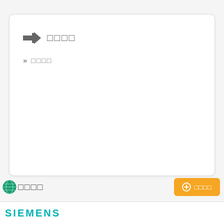[Figure (screenshot): White rounded card panel with a right-arrow icon and CJK placeholder text as title, and a double-chevron with CJK text below]
➡ □□□□
» □□□□
[Figure (screenshot): Globe icon with CJK text and orange button with plus icon and CJK text]
SIEMENS